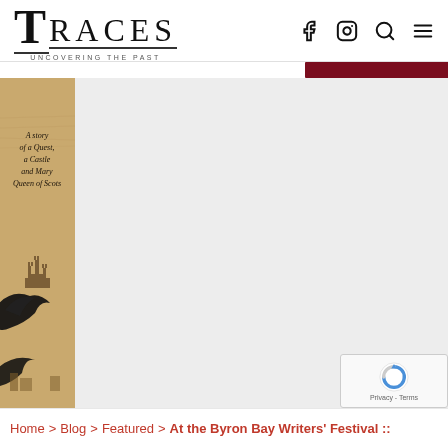TRACES — Uncovering the Past
[Figure (screenshot): Book cover image showing a sepia/tan background with castle silhouette and crow/raven silhouette. Text reads: A story of a Quest, a Castle and Mary Queen of Scots]
[Figure (screenshot): reCAPTCHA widget with spinning arrows logo and Privacy - Terms links]
Home > Blog > Featured > At the Byron Bay Writers' Festival ::